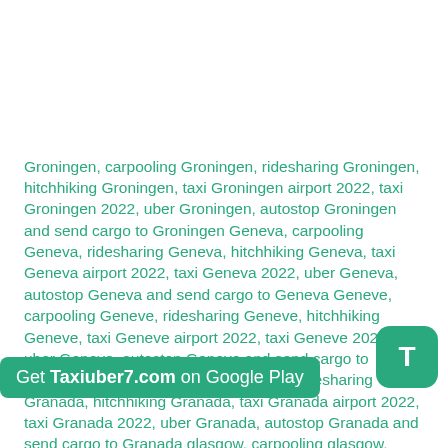Groningen, carpooling Groningen, ridesharing Groningen, hitchhiking Groningen, taxi Groningen airport 2022, taxi Groningen 2022, uber Groningen, autostop Groningen and send cargo to Groningen Geneva, carpooling Geneva, ridesharing Geneva, hitchhiking Geneva, taxi Geneva airport 2022, taxi Geneva 2022, uber Geneva, autostop Geneva and send cargo to Geneva Geneve, carpooling Geneve, ridesharing Geneve, hitchhiking Geneve, taxi Geneve airport 2022, taxi Geneve 2022, uber Geneve, autostop Geneve and send cargo to Geneve Granada, carpooling Granada, ridesharing Granada, hitchhiking Granada, taxi Granada airport 2022, taxi Granada 2022, uber Granada, autostop Granada and send cargo to Granada glasgow, carpooling glasgow, ridesharing glasgow,
Get Taxiuber7.com on Google Play